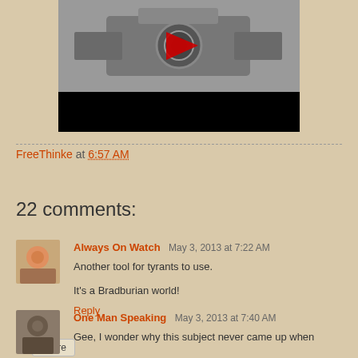[Figure (photo): Screenshot of a video thumbnail showing mechanical/camera equipment with a play button overlay and a black bar at the bottom]
FreeThinke at 6:57 AM
Share
22 comments:
Always On Watch  May 3, 2013 at 7:22 AM
Another tool for tyrants to use.

It's a Bradburian world!
Reply
One Man Speaking  May 3, 2013 at 7:40 AM
Gee, I wonder why this subject never came up when